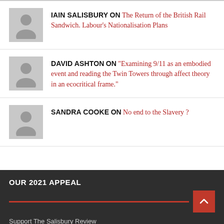IAIN SALISBURY ON The Return of the British Rail Sandwich. Labour's Nationalisation Plans
DAVID ASHTON ON “Examining 9/11 as an embodied event and reading the Twin Towers through affect theory in an ecocritical frame.”
SANDRA COOKE ON No end to the Slavery ?
OUR 2021 APPEAL
Support The Salisbury Review